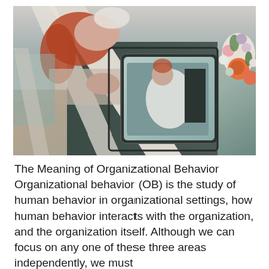[Figure (photo): A wedding scene photographed through a vehicle window and mirror. A red-haired woman wearing gold earrings and a white veil is visible in the upper portion. Reflections in a car mirror show a bride in a white lace dress embracing someone, with flowers visible on the right side.]
The Meaning of Organizational Behavior Organizational behavior (OB) is the study of human behavior in organizational settings, how human behavior interacts with the organization, and the organization itself. Although we can focus on any one of these three areas independently, we must